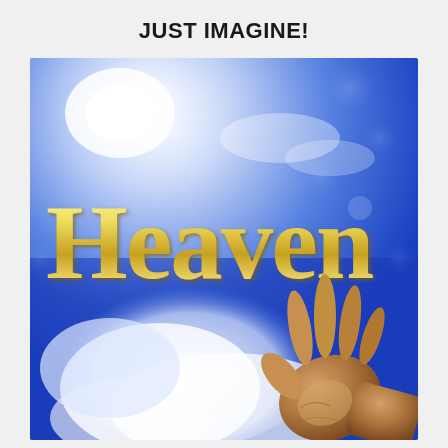JUST IMAGINE!
[Figure (illustration): Book cover or illustration showing the word 'Heaven' in large gold serif letters against a blue sky with bright light rays and white clouds, with a human hand reaching upward toward the light on the right side of the image.]